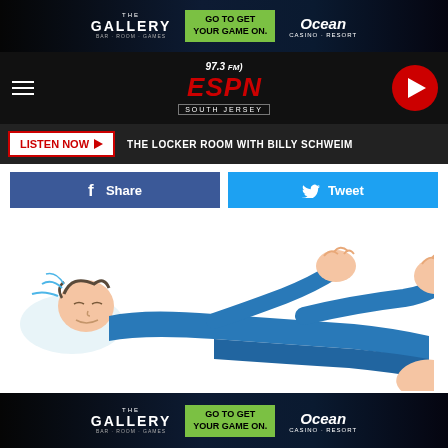[Figure (screenshot): Top advertisement banner for The Gallery bar at Ocean Casino Resort with 'GO TO GET YOUR GAME ON.' in green button]
[Figure (logo): 97.3 FM ESPN South Jersey radio station navigation bar with hamburger menu and play button]
LISTEN NOW ▶  THE LOCKER ROOM WITH BILLY SCHWEIM
[Figure (illustration): Cartoon illustration of a person in blue clothes lying down stretching with arms and feet raised]
[Figure (screenshot): Bottom advertisement banner for The Gallery bar at Ocean Casino Resort with 'GO TO GET YOUR GAME ON.' in green button]